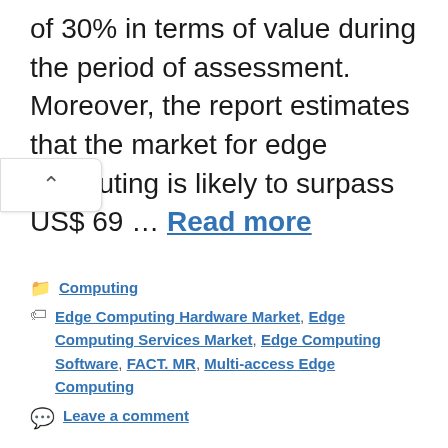of 30% in terms of value during the period of assessment. Moreover, the report estimates that the market for edge computing is likely to surpass US$ 69 … Read more
Categories: Computing
Tags: Edge Computing Hardware Market, Edge Computing Services Market, Edge Computing Software, FACT. MR, Multi-access Edge Computing
Leave a comment
Photonics Computing